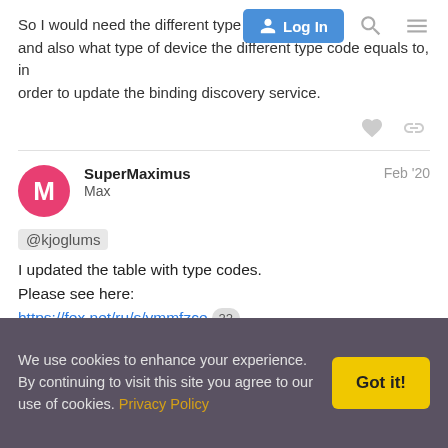So I would need the different type codes about and also what type of device the different type code equals to, in order to update the binding discovery service.
SuperMaximus
Max
Feb '20
@kjoglums
I updated the table with type codes.
Please see here:
https://fex.net/ru/s/ymmfzce 22

Thank you in advance!
We use cookies to enhance your experience. By continuing to visit this site you agree to our use of cookies. Privacy Policy